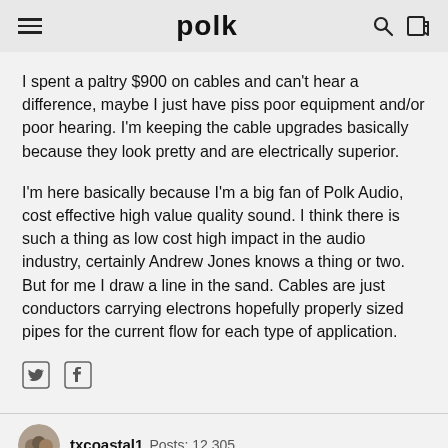polk
I spent a paltry $900 on cables and can't hear a difference, maybe I just have piss poor equipment and/or poor hearing. I'm keeping the cable upgrades basically because they look pretty and are electrically superior.
I'm here basically because I'm a big fan of Polk Audio, cost effective high value quality sound. I think there is such a thing as low cost high impact in the audio industry, certainly Andrew Jones knows a thing or two. But for me I draw a line in the sand. Cables are just conductors carrying electrons hopefully properly sized pipes for the current flow for each type of application.
txcoastal1   Posts: 12,305